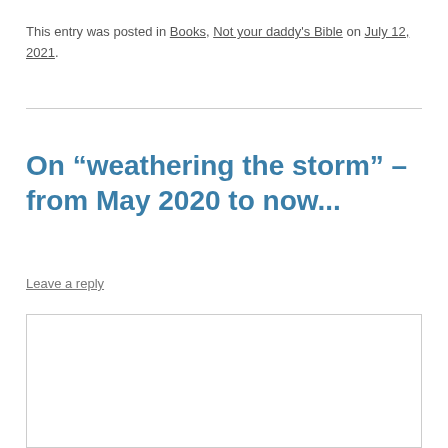This entry was posted in Books, Not your daddy's Bible on July 12, 2021.
On “weathering the storm” – from May 2020 to now...
Leave a reply